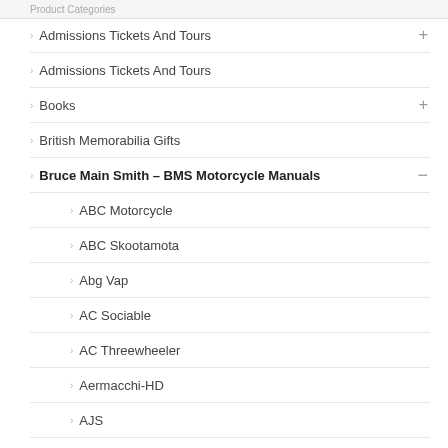Product Categories
Admissions Tickets And Tours
Admissions Tickets And Tours
Books
British Memorabilia Gifts
Bruce Main Smith – BMS Motorcycle Manuals
ABC Motorcycle
ABC Skootamota
Abg Vap
AC Sociable
AC Threewheeler
Aermacchi-HD
AJS
AJW
AKD
Albion Gearboxes
Alldays
Alldays Allon